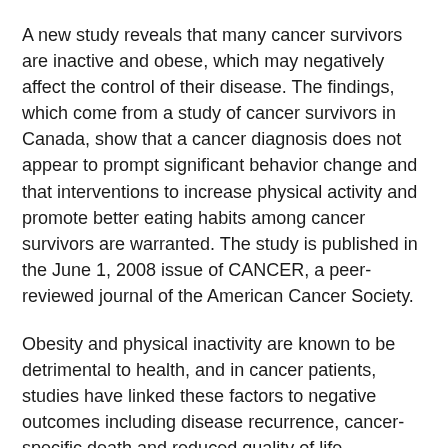A new study reveals that many cancer survivors are inactive and obese, which may negatively affect the control of their disease. The findings, which come from a study of cancer survivors in Canada, show that a cancer diagnosis does not appear to prompt significant behavior change and that interventions to increase physical activity and promote better eating habits among cancer survivors are warranted. The study is published in the June 1, 2008 issue of CANCER, a peer-reviewed journal of the American Cancer Society.
Obesity and physical inactivity are known to be detrimental to health, and in cancer patients, studies have linked these factors to negative outcomes including disease recurrence, cancer-specific death and reduced quality of life. However, few studies have looked at the prevalence of physical activity and obesity in populations of cancer survivors.
To determine this prevalence and compare it to individuals